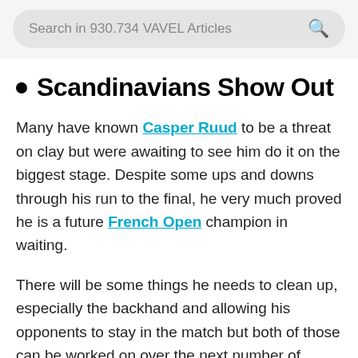Search in 930.734 VAVEL Articles
• Scandinavians Show Out
Many have known Casper Ruud to be a threat on clay but were awaiting to see him do it on the biggest stage. Despite some ups and downs through his run to the final, he very much proved he is a future French Open champion in waiting.
There will be some things he needs to clean up, especially the backhand and allowing his opponents to stay in the match but both of those can be worked on over the next number of years. The Norwegian has constantly been